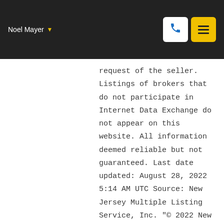Noel Mayer
request of the seller. Listings of brokers that do not participate in Internet Data Exchange do not appear on this website. All information deemed reliable but not guaranteed. Last date updated: August 28, 2022 5:14 AM UTC Source: New Jersey Multiple Listing Service, Inc. "© 2022 New Jersey Multiple Listing Service, Inc. All rights reserved."